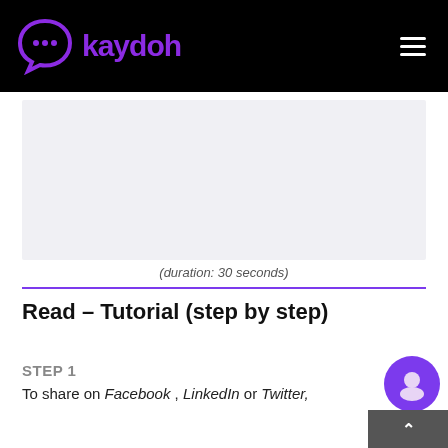kaydoh
[Figure (screenshot): Video player placeholder area with light gray background]
(duration: 30 seconds)
Read – Tutorial (step by step)
STEP 1
To share on Facebook , LinkedIn or Twitter,